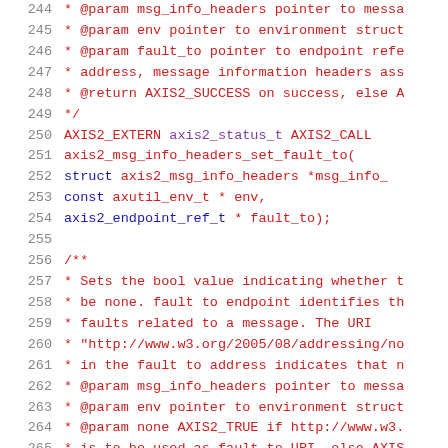Source code listing, lines 244-265, C API documentation for axis2_msg_info_headers functions